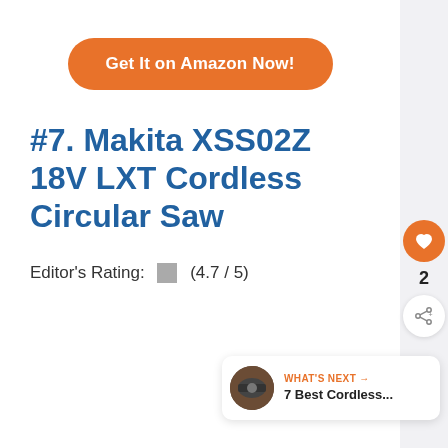[Figure (other): Orange rounded-rectangle button reading 'Get It on Amazon Now!']
#7. Makita XSS02Z 18V LXT Cordless Circular Saw
Editor's Rating: (4.7 / 5)
[Figure (other): Sidebar with heart icon button (orange), share icon button (white), count '2', and 'What's Next' preview panel showing '7 Best Cordless...']